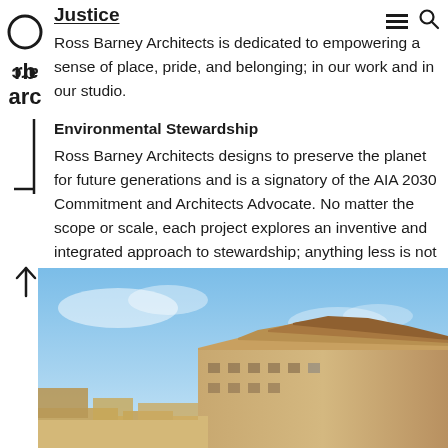Justice
Ross Barney Architects is dedicated to empowering a sense of place, pride, and belonging; in our work and in our studio.
Environmental Stewardship
Ross Barney Architects designs to preserve the planet for future generations and is a signatory of the AIA 2030 Commitment and Architects Advocate. No matter the scope or scale, each project explores an inventive and integrated approach to stewardship; anything less is not an option.
[Figure (photo): Architectural photograph of a building with ornate stepped roofline detail against a blue sky background]